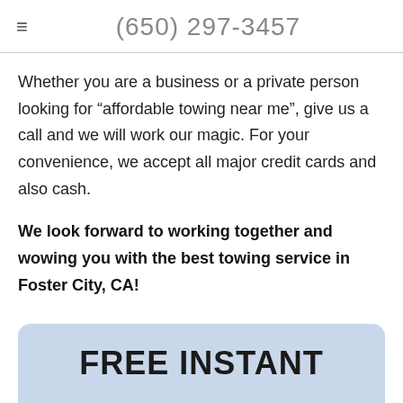(650) 297-3457
Whether you are a business or a private person looking for “affordable towing near me”, give us a call and we will work our magic. For your convenience, we accept all major credit cards and also cash.
We look forward to working together and wowing you with the best towing service in Foster City, CA!
FREE INSTANT